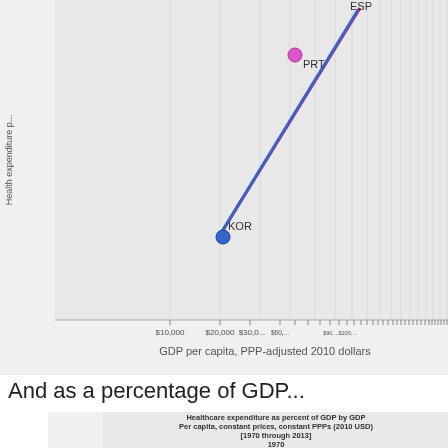[Figure (continuous-plot): Top portion of a scatter plot showing Health expenditure per capita vs GDP per capita PPP-adjusted 2010 dollars. Shows a diagonal trend line (blue and red), with labeled country points: ESP (top right), PRT (pink dot, upper middle), KOR (blue dot, lower left). X-axis shows values from $10,000 to higher. Label: GDP per capita, PPP-adjusted 2010 dollars.]
And as a percentage of GDP...
[Figure (continuous-plot): Line chart titled 'Healthcare expenditure as percent of GDP by GDP Per capita, constant prices, constant PPPs (2010 USD) [1970 through 2013] 1970'. Shows a rising blue trend line with gray confidence band in the lower right area. Y-axis labeled 'as percent of GDP' with tick at 15% and 10%. Background is light gray grid.]